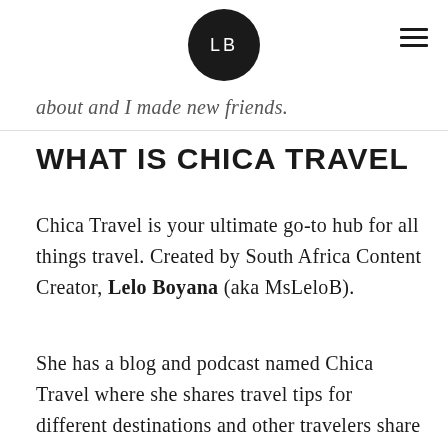LB
about and I made new friends.
WHAT IS CHICA TRAVEL
Chica Travel is your ultimate go-to hub for all things travel. Created by South Africa Content Creator, Lelo Boyana (aka MsLeloB).
She has a blog and podcast named Chica Travel where she shares travel tips for different destinations and other travelers share their travel experiences. Lelo also occasionally hosts group tours and events